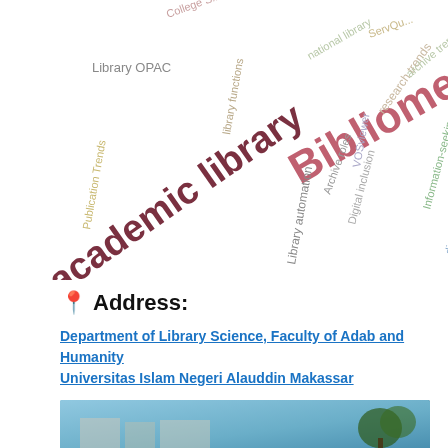[Figure (other): Word cloud related to library science topics. Words include: Bibliometric (large, red), academic library (large, dark red/maroon), Library OPAC, College S[tudies], Publication Trends, library functions, Library automation, Archive roles, Digital inclusion, VOSviewer, research trends, national library, ServQu[al], Information-seeking behavior, digital technology, Publish or Perish, Checklist method in library, technology in library, archive trends]
📍 Address:
Department of Library Science, Faculty of Adab and Humanity
Universitas Islam Negeri Alauddin Makassar
[Figure (photo): Partial photo of a building or campus scene with blue sky and trees, cropped at the bottom of the page.]